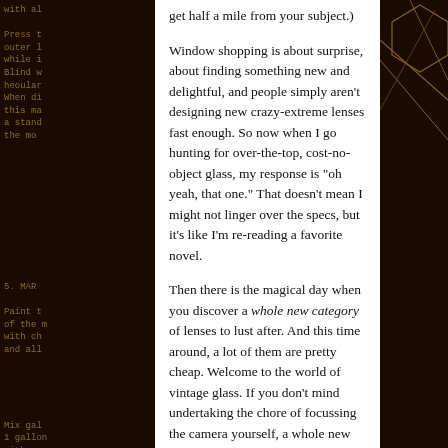get half a mile from your subject.)
Window shopping is about surprise, about finding something new and delightful, and people simply aren't designing new crazy-extreme lenses fast enough. So now when I go hunting for over-the-top, cost-no-object glass, my response is "oh yeah, that one." That doesn't mean I might not linger over the specs, but it's like I'm re-reading a favorite novel.
Then there is the magical day when you discover a whole new category of lenses to lust after. And this time around, a lot of them are pretty cheap. Welcome to the world of vintage glass. If you don't mind undertaking the chore of focussing the camera yourself, a whole new world unfolds.
Although I assume technology has changed the way lens makers go about their craft, Zeiss lenses have been very good for a very long time. Others have been trying to knock Zeiss off their pedestal for a long time as well. Pentax made a serious run at Zeiss and produced some optically excellent lenses